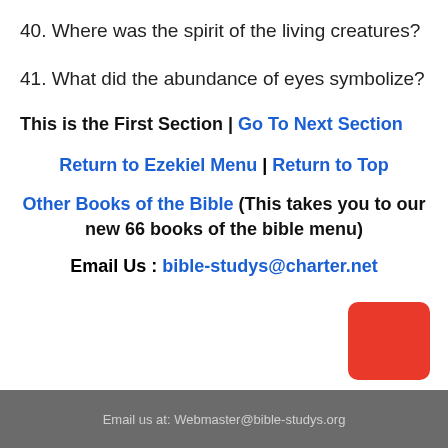40. Where was the spirit of the living creatures?
41. What did the abundance of eyes symbolize?
This is the First Section | Go To Next Section
Return to Ezekiel Menu | Return to Top
Other Books of the Bible (This takes you to our new 66 books of the bible menu)
Email Us : bible-studys@charter.net
Email us at: Webmaster@bible-studys.org